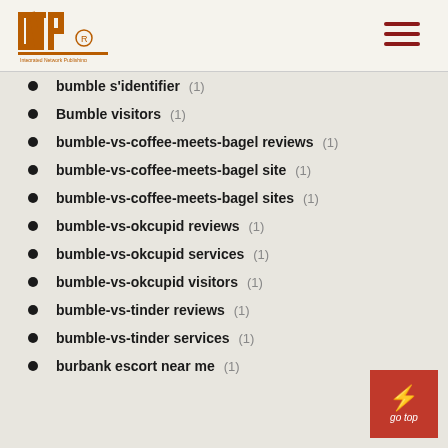INP logo and hamburger menu
bumble s'identifier (1)
Bumble visitors (1)
bumble-vs-coffee-meets-bagel reviews (1)
bumble-vs-coffee-meets-bagel site (1)
bumble-vs-coffee-meets-bagel sites (1)
bumble-vs-okcupid reviews (1)
bumble-vs-okcupid services (1)
bumble-vs-okcupid visitors (1)
bumble-vs-tinder reviews (1)
bumble-vs-tinder services (1)
burbank escort near me (1)